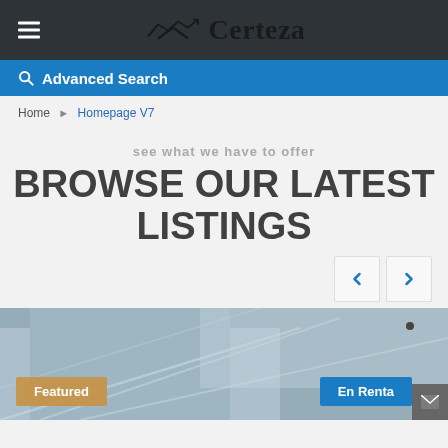Certeza
Advanced Search
Home > Homepage V7
see what we have to offer
BROWSE OUR LATEST LISTINGS
[Figure (photo): Property building exterior photo with Featured and En Renta badges]